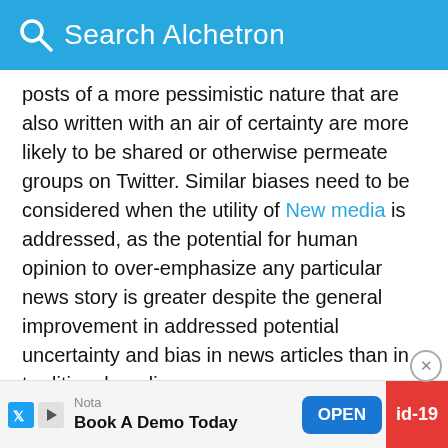Search Alchetron
posts of a more pessimistic nature that are also written with an air of certainty are more likely to be shared or otherwise permeate groups on Twitter. Similar biases need to be considered when the utility of New media is addressed, as the potential for human opinion to over-emphasize any particular news story is greater despite the general improvement in addressed potential uncertainty and bias in news articles than in traditional media.
On October 2, 2013, the most common hashtag throughout the United States was "#governmentshutdown", as well as ones focusing on po... ges...
[Figure (screenshot): Mobile advertisement bar at bottom: Nota / Book A Demo Today with OPEN button and id-19 badge]